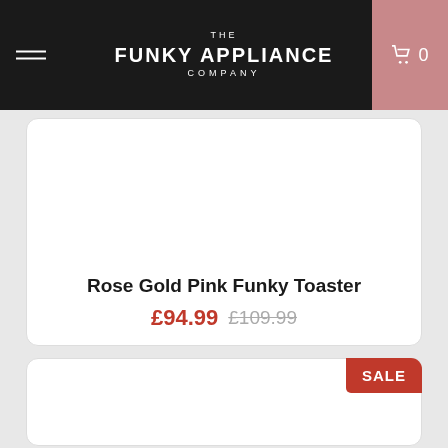THE FUNKY APPLIANCE COMPANY
Rose Gold Pink Funky Toaster
£94.99 £109.99
SALE